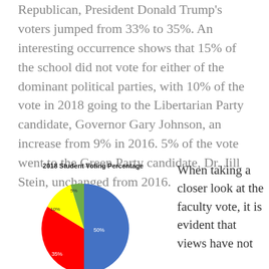Republican, President Donald Trump's voters jumped from 33% to 35%. An interesting occurrence shows that 15% of the school did not vote for either of the dominant political parties, with 10% of the vote in 2018 going to the Libertarian Party candidate, Governor Gary Johnson, an increase from 9% in 2016. 5% of the vote went to the Green Party candidate, Dr. Jill Stein, unchanged from 2016.
[Figure (pie-chart): 2018 Student Voting Percentage]
When taking a closer look at the faculty vote, it is evident that views have not